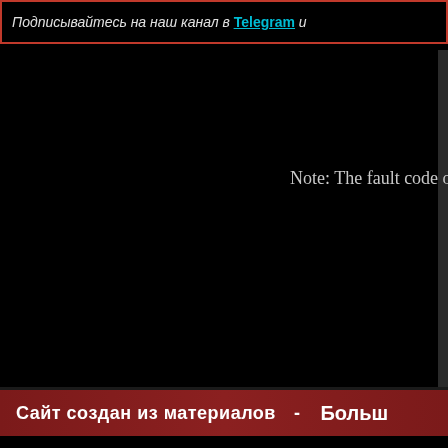Подписывайтесь на наш канал в Telegram и
Note: The fault code on
Сайт создан из материалов - Больш